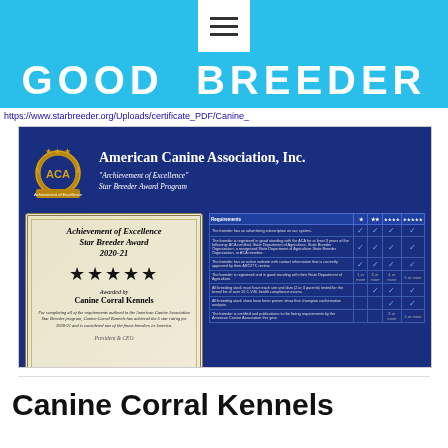GOOD BREEDER
https://www.starbreeder.org/Uploads/certificate_PDF/Canine_
[Figure (illustration): American Canine Association Inc. Achievement of Excellence Star Breeder Award certificate for Canine Corral Kennels 2020-21, four stars, with a requirements table on a navy blue background]
Canine Corral Kennels